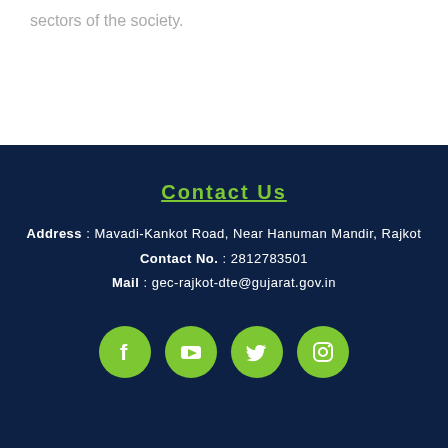sectors of the society.
Contact Us
Address : Mavadi-Kankot Road, Near Hanuman Mandir, Rajkot
Contact No. : 2812783501
Mail : gec-rajkot-dte@gujarat.gov.in
[Figure (infographic): Four social media icons in green circles: Facebook, YouTube, Twitter, Instagram]